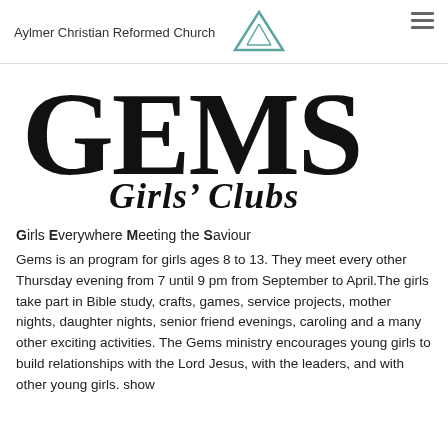Aylmer Christian Reformed Church
[Figure (logo): GEMS Girls' Clubs logo — large bold serif uppercase letters spelling GEMS with italic script 'Girls' Clubs' below]
Girls Everywhere Meeting the Saviour
Gems is an program for girls ages 8 to 13. They meet every other Thursday evening from 7 until 9 pm from September to April.The girls take part in Bible study, crafts, games, service projects, mother nights, daughter nights, senior friend evenings, caroling and a many other exciting activities. The Gems ministry encourages young girls to build relationships with the Lord Jesus, with the leaders, and with other young girls. show